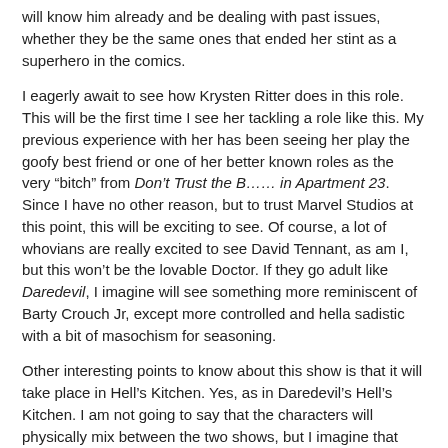will know him already and be dealing with past issues, whether they be the same ones that ended her stint as a superhero in the comics.
I eagerly await to see how Krysten Ritter does in this role. This will be the first time I see her tackling a role like this. My previous experience with her has been seeing her play the goofy best friend or one of her better known roles as the very “bitch” from Don’t Trust the B…… in Apartment 23. Since I have no other reason, but to trust Marvel Studios at this point, this will be exciting to see. Of course, a lot of whovians are really excited to see David Tennant, as am I, but this won’t be the lovable Doctor. If they go adult like Daredevil, I imagine will see something more reminiscent of Barty Crouch Jr, except more controlled and hella sadistic with a bit of masochism for seasoning.
Other interesting points to know about this show is that it will take place in Hell’s Kitchen. Yes, as in Daredevil’s Hell’s Kitchen. I am not going to say that the characters will physically mix between the two shows, but I imagine that there will be a lot of mentioning at the very least. Cameos are still not a complete dismissal. For those that may not know, Marvel Studios, contracted with Netflix to do 5 shows with the following four, Daredevil, Jessica Jones, Luke Cage, and Iron Fist, becoming the final